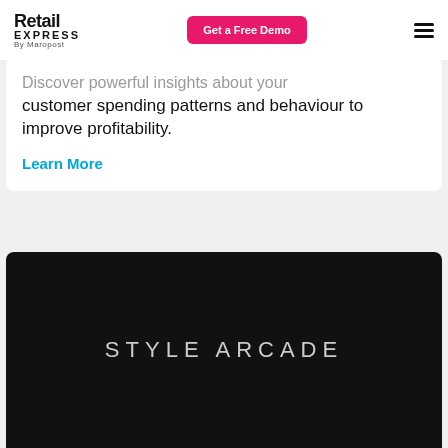Retail Express By Maropost | Get a Free Demo
Discover powerful insights about your customer spending patterns and behaviour to improve profitability.
Learn More
[Figure (screenshot): Dark black card with STYLE ARCADE text in light gray uppercase letters]